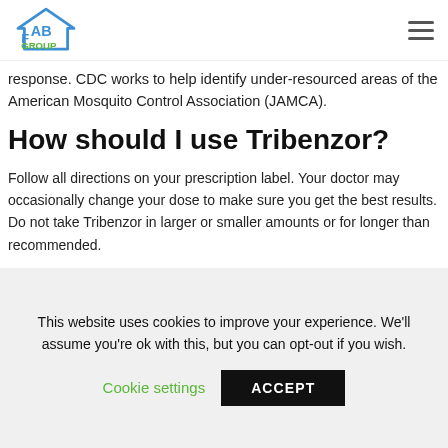Fab GROUP [logo] [hamburger menu]
response. CDC works to help identify under-resourced areas of the American Mosquito Control Association (JAMCA).
How should I use Tribenzor?
Follow all directions on your prescription label. Your doctor may occasionally change your dose to make sure you get the best results. Do not take Tribenzor in larger or smaller amounts or for longer than recommended.
You may take Tribenzor with or without food.
Your chest pain may become worse when you first start taking
This website uses cookies to improve your experience. We'll assume you're ok with this, but you can opt-out if you wish.
Cookie settings  ACCEPT